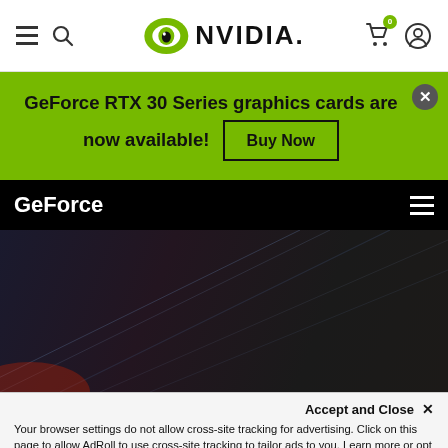NVIDIA website header navigation with hamburger menu, search icon, NVIDIA logo, cart (0 items), and user profile icon
GeForce RTX 30 Series graphics cards are now available! Buy Now
GeForce
[Figure (screenshot): Dark hero background image with faint diagonal light streaks suggesting a gaming GPU product. Dark blue-gray to dark red-black gradient background.]
Accept and Close ✕
Your browser settings do not allow cross-site tracking for advertising. Click on this page to allow AdRoll to use cross-site tracking to tailor ads to you. Learn more or opt out of this AdRoll tracking by clicking here. This message only appears once.